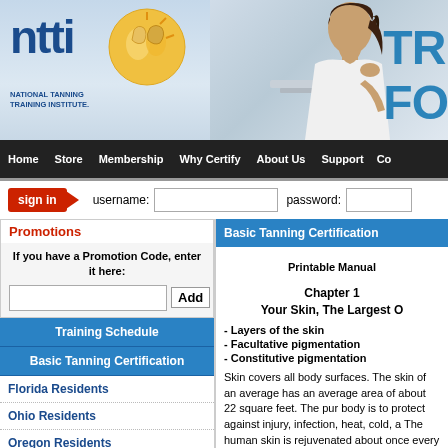[Figure (logo): NTTI National Tanning Training Institute logo with golden circle graphic of faces and blue ntti text, plus partial woman at laptop photo, and 'TR FO' text on right]
Home  Store  Membership  Why Certify  About Us  Support  Co
sign in  username:  password:
Promotions
If you have a Promotion Code, enter it here:
Training Schedule
Basic Tanning Certification
Florida Residents
Ohio Residents
Oregon Residents
North Carolina Residents
South Carolina Residents
All Other States
Canadian Residents
Basic Tanning Certification
Printable Manual
Chapter 1
Your Skin, The Largest O
- Layers of the skin
- Facultative pigmentation
- Constitutive pigmentation
Skin covers all body surfaces. The skin of an average has an average area of about 22 square feet. The pur body is to protect against injury, infection, heat, cold, a The human skin is rejuvenated about once every fou